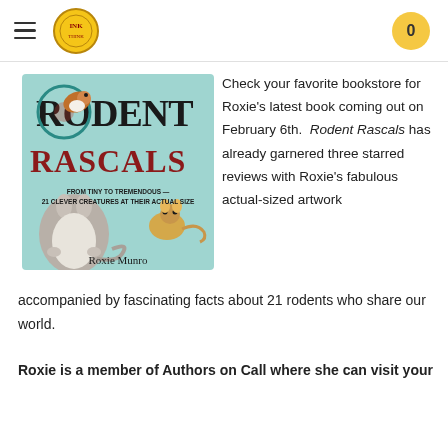INK [logo] 0
[Figure (illustration): Book cover of 'Rodent Rascals' by Roxie Munro, showing illustrated rodents including a hamster on a wheel, a chinchilla, and a mouse. Subtitle: FROM TINY TO TREMENDOUS — 21 CLEVER CREATURES AT THEIR ACTUAL SIZE]
Check your favorite bookstore for Roxie's latest book coming out on February 6th. Rodent Rascals has already garnered three starred reviews with Roxie's fabulous actual-sized artwork accompanied by fascinating facts about 21 rodents who share our world.
Roxie is a member of Authors on Call where she can visit your